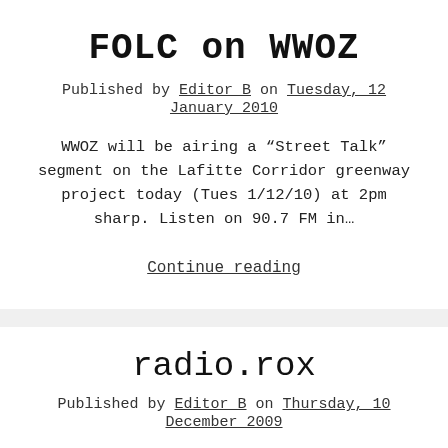FOLC on WWOZ
Published by Editor B on Tuesday, 12 January 2010
WWOZ will be airing a “Street Talk” segment on the Lafitte Corridor greenway project today (Tues 1/12/10) at 2pm sharp. Listen on 90.7 FM in…
Continue reading
radio.rox
Published by Editor B on Thursday, 10 December 2009
http://www.flickr.com/photos/imh/ / CC BY-NC-ND 2.0